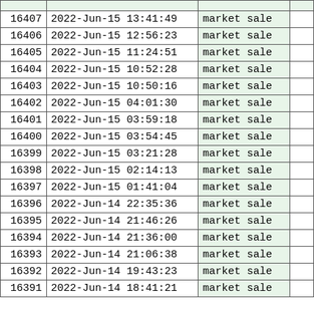| ID | Datetime | Type |  |
| --- | --- | --- | --- |
| 16407 | 2022-Jun-15 13:41:49 | market sale |  |
| 16406 | 2022-Jun-15 12:56:23 | market sale |  |
| 16405 | 2022-Jun-15 11:24:51 | market sale |  |
| 16404 | 2022-Jun-15 10:52:28 | market sale |  |
| 16403 | 2022-Jun-15 10:50:16 | market sale |  |
| 16402 | 2022-Jun-15 04:01:30 | market sale |  |
| 16401 | 2022-Jun-15 03:59:18 | market sale |  |
| 16400 | 2022-Jun-15 03:54:45 | market sale |  |
| 16399 | 2022-Jun-15 03:21:28 | market sale |  |
| 16398 | 2022-Jun-15 02:14:13 | market sale |  |
| 16397 | 2022-Jun-15 01:41:04 | market sale |  |
| 16396 | 2022-Jun-14 22:35:36 | market sale |  |
| 16395 | 2022-Jun-14 21:46:26 | market sale |  |
| 16394 | 2022-Jun-14 21:36:00 | market sale |  |
| 16393 | 2022-Jun-14 21:06:38 | market sale |  |
| 16392 | 2022-Jun-14 19:43:23 | market sale |  |
| 16391 | 2022-Jun-14 18:41:21 | market sale |  |